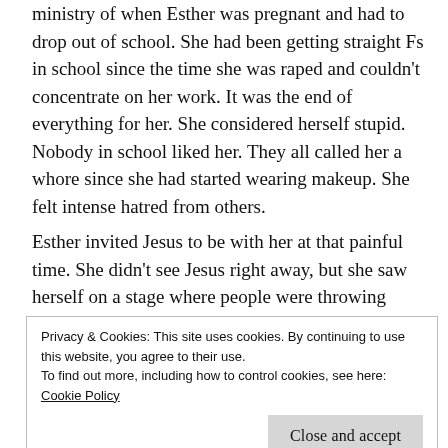ministry of when Esther was pregnant and had to drop out of school. She had been getting straight Fs in school since the time she was raped and couldn't concentrate on her work. It was the end of everything for her. She considered herself stupid. Nobody in school liked her. They all called her a whore since she had started wearing makeup. She felt intense hatred from others.
Esther invited Jesus to be with her at that painful time. She didn't see Jesus right away, but she saw herself on a stage where people were throwing rotten tomatoes at her. That wasn't an actual memory, but it described
Privacy & Cookies: This site uses cookies. By continuing to use this website, you agree to their use.
To find out more, including how to control cookies, see here:
Cookie Policy
[Close and accept]
feathery wings.